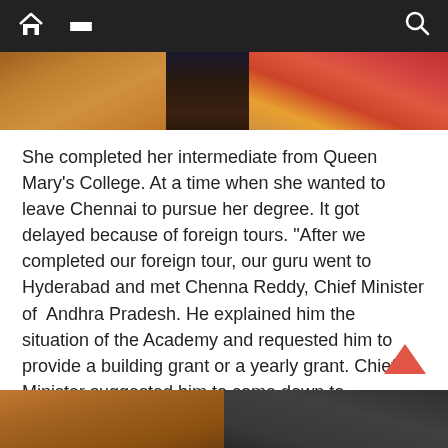[Figure (screenshot): Navigation bar with dark background, home icon, hamburger menu icon, and search icon]
[Figure (photo): Top portion of a photo showing colorful clothing or fabric]
She completed her intermediate from Queen Mary’s College. At a time when she wanted to leave Chennai to pursue her degree. It got delayed because of foreign tours. “After we completed our foreign tour, our guru went to Hyderabad and met Chenna Reddy, Chief Minister of  Andhra Pradesh. He explained him the situation of the Academy and requested him to provide a building grant or a yearly grant. Chief Minister suggested him to come down to Hyderabad and establish an institution as the Government of Andhra Pradesh cannot fund an institution in Chennai. Guru told him that it is not possible for him to come down.
[Figure (photo): Bottom portion of another photo, partially visible]